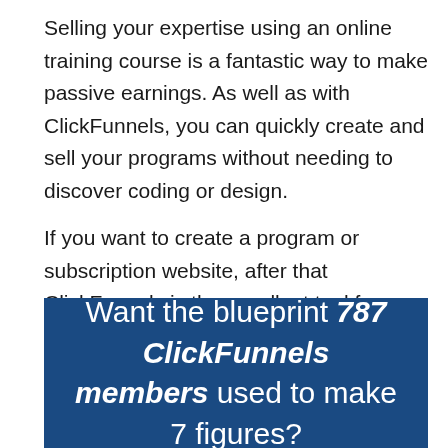Selling your expertise using an online training course is a fantastic way to make passive earnings. As well as with ClickFunnels, you can quickly create and sell your programs without needing to discover coding or design.
If you want to create a program or subscription website, after that ClickFunnels is the excellent tool for you.
[Figure (infographic): Dark blue banner with white text reading: Want the blueprint 787 ClickFunnels members used to make 7 figures?]